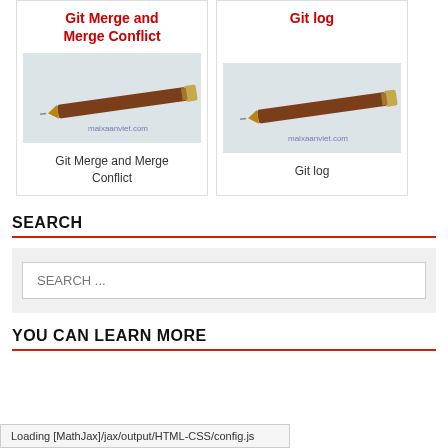[Figure (illustration): Card for Git Merge and Merge Conflict tutorial with pen illustration and watermark maixaanviet.com]
Git Merge and Merge Conflict
[Figure (illustration): Card for Git log tutorial with pen illustration and watermark maixaanviet.com]
Git log
SEARCH
SEARCH ...
YOU CAN LEARN MORE
Loading [MathJax]/jax/output/HTML-CSS/config.js